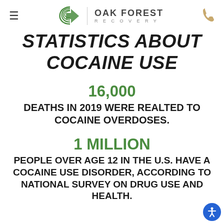OAK FOREST RECOVERY
STATISTICS ABOUT COCAINE USE
16,000
DEATHS IN 2019 WERE REALTED TO COCAINE OVERDOSES.
1 MILLION
PEOPLE OVER AGE 12 IN THE U.S. HAVE A COCAINE USE DISORDER, ACCORDING TO NATIONAL SURVEY ON DRUG USE AND HEALTH.